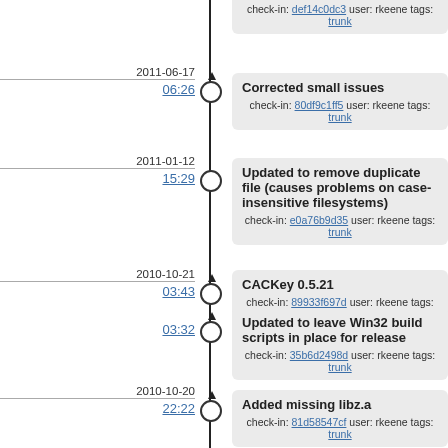check-in: def14c0dc3 user: rkeene tags: trunk
2011-06-17
06:26
Corrected small issues
check-in: 80df9c1ff5 user: rkeene tags: trunk
2011-01-12
15:29
Updated to remove duplicate file (causes problems on case-insensitive filesystems)
check-in: e0a76b9d35 user: rkeene tags: trunk
2010-10-21
03:43
CACKey 0.5.21
check-in: 89933f697d user: rkeene tags: trunk, 0.5.21
03:32
Updated to leave Win32 build scripts in place for release
check-in: 35b6d2498d user: rkeene tags: trunk
2010-10-20
22:22
Added missing libz.a
check-in: 81d58547cf user: rkeene tags: trunk